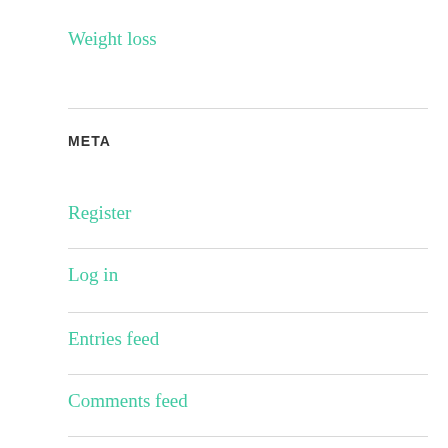Weight loss
META
Register
Log in
Entries feed
Comments feed
WordPress.com